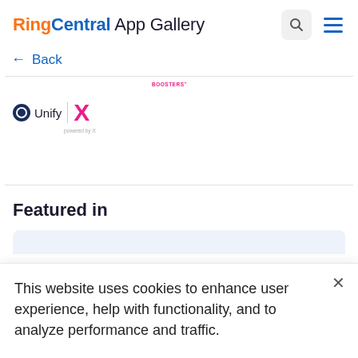RingCentral App Gallery
← Back
[Figure (logo): Unify logo with circle icon and text 'Unify', a vertical divider, and a magenta X logo. Small text labels below.]
Featured in
This website uses cookies to enhance user experience, help with functionality, and to analyze performance and traffic.